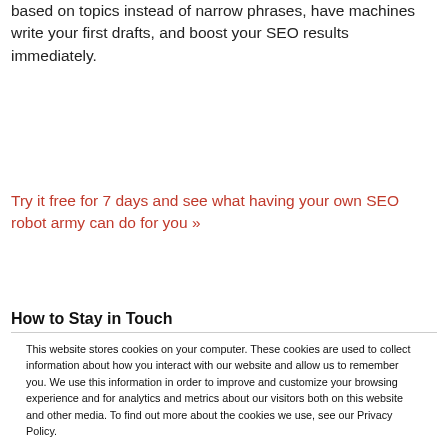based on topics instead of narrow phrases, have machines write your first drafts, and boost your SEO results immediately.
Try it free for 7 days and see what having your own SEO robot army can do for you »
How to Stay in Touch
This website stores cookies on your computer. These cookies are used to collect information about how you interact with our website and allow us to remember you. We use this information in order to improve and customize your browsing experience and for analytics and metrics about our visitors both on this website and other media. To find out more about the cookies we use, see our Privacy Policy.
If you decline, your information won't be tracked when you visit this website. A single cookie will be used in your browser to remember your preference not to be tracked.